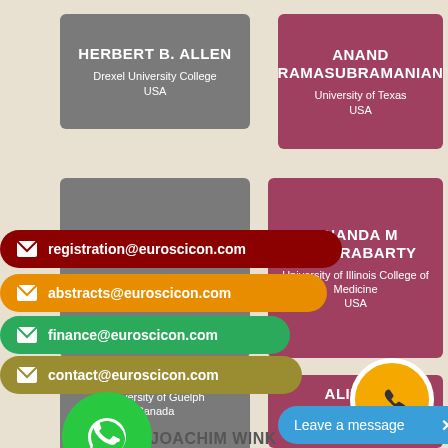[Figure (infographic): Speaker card: HERBERT B. ALLEN, Drexel University College, USA (gray background)]
[Figure (infographic): Speaker card: ANAND RAMASUBRAMANIAN, University of Texas, USA (rose background)]
[Figure (infographic): Speaker card: CATHERINE H, University of Texas (gray background)]
[Figure (infographic): Speaker card: ANANDA M CHAKRABARTY, University of Illinois College of Medicine, USA (rose background)]
[Figure (infographic): Contact banner: registration@euroscicon.com (crimson)]
[Figure (infographic): Contact banner: abstracts@euroscicon.com (orange)]
[Figure (infographic): Contact banner: finance@euroscicon.com (green)]
[Figure (infographic): Contact banner: contact@euroscicon.com (olive)]
[Figure (infographic): Speaker card: ALINE Z, Merck Millipore, Germany (rose background, partially obscured)]
[Figure (infographic): WhatsApp button (green circle)]
[Figure (infographic): Phone button (orange circle)]
JOACHIM WINK
[Figure (infographic): Leave a message button (blue pill)]